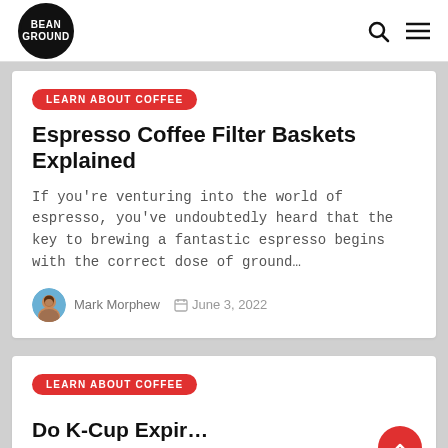BEAN GROUND
LEARN ABOUT COFFEE
Espresso Coffee Filter Baskets Explained
If you're venturing into the world of espresso, you've undoubtedly heard that the key to brewing a fantastic espresso begins with the correct dose of ground…
Mark Morphew   June 3, 2022
LEARN ABOUT COFFEE
Do K-Cup Expir...